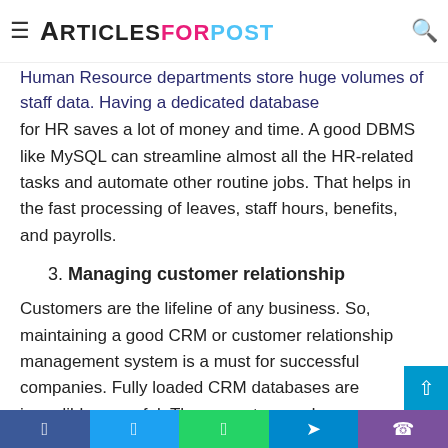≡ ArticlesForPost 🔍
Human Resource departments store huge volumes of staff data. Having a dedicated database for HR saves a lot of money and time. A good DBMS like MySQL can streamline almost all the HR-related tasks and automate other routine jobs. That helps in the fast processing of leaves, staff hours, benefits, and payrolls.
3. Managing customer relationship
Customers are the lifeline of any business. So, maintaining a good CRM or customer relationship management system is a must for successful companies. Fully loaded CRM databases are incredibly powerful. They can store and process an array of information. For example, you can store customer interaction history, customer contact details, key customer accounts, leads, new prospect names, and other business opportunities. Some new CRM software even helps in running
Facebook Twitter WhatsApp Telegram Viber